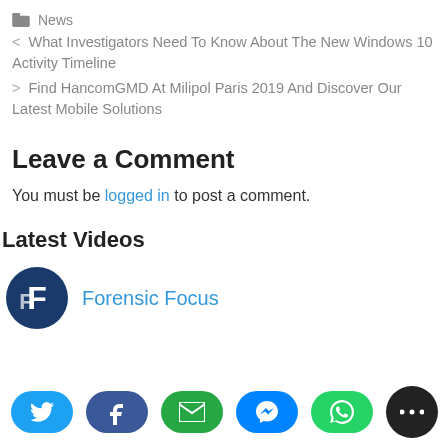News
< What Investigators Need To Know About The New Windows 10 Activity Timeline
> Find HancomGMD At Milipol Paris 2019 And Discover Our Latest Mobile Solutions
Leave a Comment
You must be logged in to post a comment.
Latest Videos
[Figure (logo): Forensic Focus channel logo — dark blue circle with white stylized F letters]
Forensic Focus
[Figure (infographic): Social share buttons: Twitter (light blue), Facebook (dark blue), Email (green), Messenger (blue), WhatsApp (green), Share (black)]